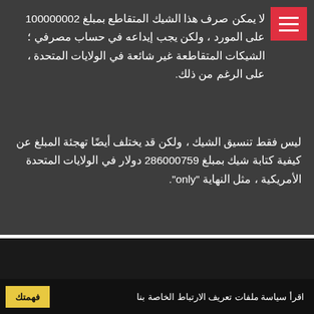لا يمكن صرف هذا الشيك المتقاطع بمبلغ 100000002 على المورد ، ولكن يجب إيداعه في حساب مصرفي ؛ الشيكات المتقاطعة غير شائعة في الولايات المتحدة ، على الرغم من ذلك.
ليس فقط تنسيق الشيك ، ولكن قد يختلف أيضًا تهجئة المبلغ عن كيفية كتابة شيك بمبلغ 286000759 دولار في الولايات المتحدة الأمريكية ، مثل النهاية "only".
من خلال الاستمرار في زيارة هذا الموقع ، فإنك توافق على استخدامنا لملفات تعريف الارتباط. يستخدم هذا الموقع ملفات تعريف الارتباط لتحسين تجربتك.
اقرأ سياسة ملفات تعريف الارتباط الخاصة بنا